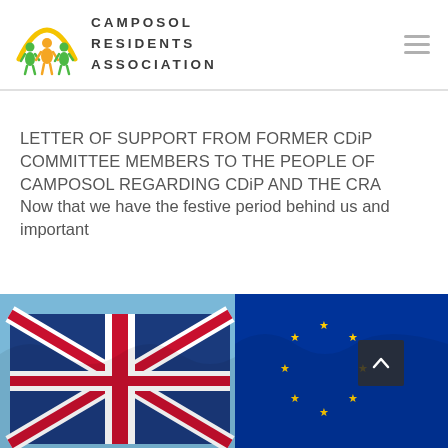[Figure (logo): Camposol Residents Association logo: three figures under a yellow arc with organization name text]
LETTER OF SUPPORT FROM FORMER CDiP COMMITTEE MEMBERS TO THE PEOPLE OF CAMPOSOL REGARDING CDiP AND THE CRA
Now that we have the festive period behind us and important
[Figure (photo): Photo of UK Union Jack flag and EU flag waving against a blue sky]